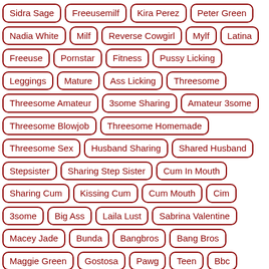Sidra Sage
Freeusemilf
Kira Perez
Peter Green
Nadia White
Milf
Reverse Cowgirl
Mylf
Latina
Freeuse
Pornstar
Fitness
Pussy Licking
Leggings
Mature
Ass Licking
Threesome
Threesome Amateur
3some Sharing
Amateur 3some
Threesome Blowjob
Threesome Homemade
Threesome Sex
Husband Sharing
Shared Husband
Stepsister
Sharing Step Sister
Cum In Mouth
Sharing Cum
Kissing Cum
Cum Mouth
Cim
3some
Big Ass
Laila Lust
Sabrina Valentine
Macey Jade
Bunda
Bangbros
Bang Bros
Maggie Green
Gostosa
Pawg
Teen
Bbc
Clara Trinity
Interracial
Big Tits
Daughterswap
Alicia Williams
Gunnar Stone
Group Sex
Foursome
Group Fuck
Group
Stepdad